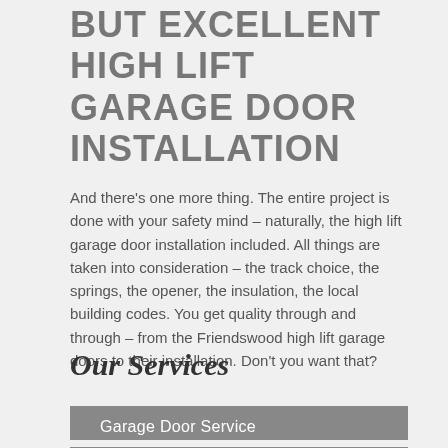BUT EXCELLENT HIGH LIFT GARAGE DOOR INSTALLATION
And there's one more thing. The entire project is done with your safety mind – naturally, the high lift garage door installation included. All things are taken into consideration – the track choice, the springs, the opener, the insulation, the local building codes. You get quality through and through – from the Friendswood high lift garage doors to their installation. Don't you want that?
Our Services
Garage Door Service
Garage Doors